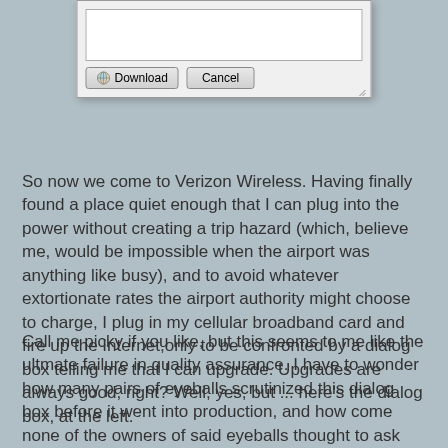[Figure (screenshot): A dialog box with a text area, a Download button with globe icon, and a Cancel button]
So now we come to Verizon Wireless. Having finally found a place quiet enough that I can plug into the power without creating a trip hazard (which, believe me, would be impossible when the airport was anything like busy), and to avoid whatever extortionate rates the airport authority might choose to charge, I plug in my cellular broadband card and fire up the Internet,only to be confronted by a dialog box telling me that I can upgrade. Upgrades are always good, right? Well, yes, but ... here's the dialog box, at the left.
Call me picky if you like, but this seems to me like the ultmate failure in quality assurance. I have to wonder how many pairs of eyeballs scrutinized this dialog box before it went into production, and how come none of the owners of said eyeballs thought to ask the question "What 'Update' button"? I am imagining that each scrutineer, supposing they notice any discrepancy at all between the text in the dialog